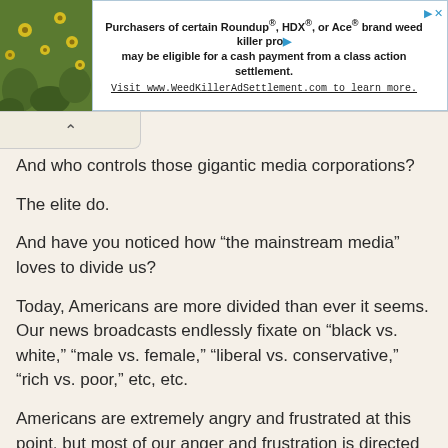[Figure (other): Advertisement banner: image of yellow flowers on left, text on right: 'Purchasers of certain Roundup®, HDX®, or Ace® brand weed killer products may be eligible for a cash payment from a class action settlement. Visit www.WeedKillerAdSettlement.com to learn more.']
And who controls those gigantic media corporations?
The elite do.
And have you noticed how “the mainstream media” loves to divide us?
Today, Americans are more divided than ever it seems. Our news broadcasts endlessly fixate on “black vs. white,” “male vs. female,” “liberal vs. conservative,” “rich vs. poor,” etc, etc.
Americans are extremely angry and frustrated at this point, but most of our anger and frustration is directed at one another.